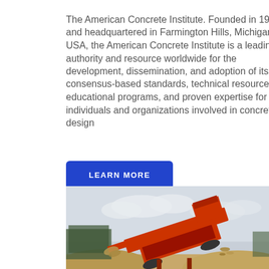The American Concrete Institute. Founded in 1904 and headquartered in Farmington Hills, Michigan, USA, the American Concrete Institute is a leading authority and resource worldwide for the development, dissemination, and adoption of its consensus-based standards, technical resources, educational programs, and proven expertise for individuals and organizations involved in concrete design
LEARN MORE
[Figure (photo): An orange industrial crushing/screening machine operating outdoors on a gravel/aggregate site with trees and overcast sky in the background. The machine is elevated at an angle with material being discharged.]